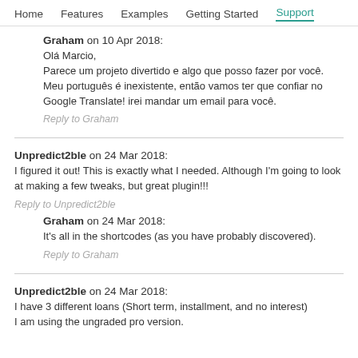Home  Features  Examples  Getting Started  Support
Graham on 10 Apr 2018:
Olá Marcio,
Parece um projeto divertido e algo que posso fazer por você.
Meu português é inexistente, então vamos ter que confiar no Google Translate! irei mandar um email para você.
Reply to Graham
Unpredict2ble on 24 Mar 2018:
I figured it out! This is exactly what I needed. Although I'm going to look at making a few tweaks, but great plugin!!!
Reply to Unpredict2ble
Graham on 24 Mar 2018:
It's all in the shortcodes (as you have probably discovered).
Reply to Graham
Unpredict2ble on 24 Mar 2018:
I have 3 different loans (Short term, installment, and no interest)
I am using the ungraded pro version.